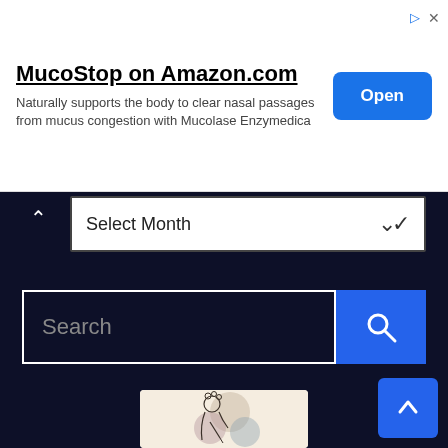[Figure (screenshot): Advertisement banner for MucoStop on Amazon.com. White background with product title, description, and an Open button.]
MucoStop on Amazon.com
Naturally supports the body to clear nasal passages from mucus congestion with Mucolase Enzymedica
Select Month
Search
[Figure (illustration): Line art illustration of a woman with flowers in her hair, seated and writing, with soft circular color blobs in the background on a cream/beige background.]